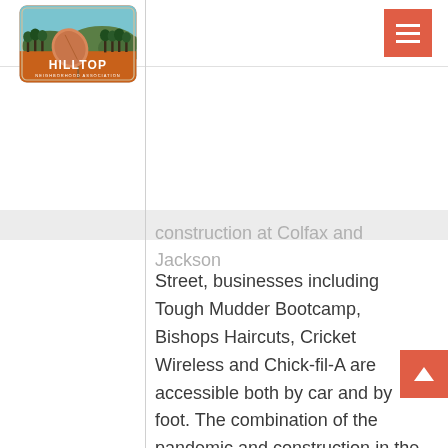[Figure (logo): Hilltop Neighborhood Association logo: rounded rectangle with orange/brown bottom half and blue sky top, showing trees, hills, and a satellite dish. Text reads HILLTOP NEIGHBORHOOD ASSOCIATION in white.]
construction at Colfax and Jackson Street, businesses including Tough Mudder Bootcamp, Bishops Haircuts, Cricket Wireless and Chick-fil-A are accessible both by car and by foot. The combination of the pandemic and construction in the area makes it more important than ever to consider supporting local businesses.